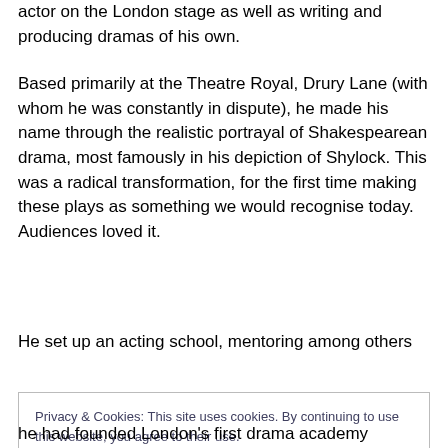actor on the London stage as well as writing and producing dramas of his own.
Based primarily at the Theatre Royal, Drury Lane (with whom he was constantly in dispute), he made his name through the realistic portrayal of Shakespearean drama, most famously in his depiction of Shylock. This was a radical transformation, for the first time making these plays as something we would recognise today. Audiences loved it.
He set up an acting school, mentoring among others
[Figure (screenshot): Cookie consent banner with text: Privacy & Cookies: This site uses cookies. By continuing to use this website, you agree to their use. To find out more, including how to control cookies, see here: Cookie Policy. And a 'Close and accept' button.]
he had founded London's first drama academy